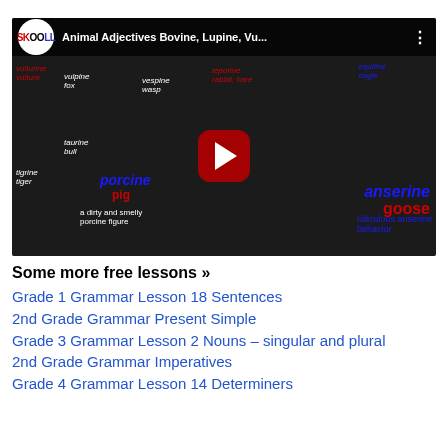[Figure (screenshot): YouTube video thumbnail for 'Animal Adjectives Bovine, Lupine, Vu...' from SKOOLL channel, showing an educational poster about animal adjectives including bovine, lupine, vulturine, vulpine, vespine, leporine, equiline, anserine, porcine, taurine, tigrine and more, with a red play button overlay.]
Some more free lessons »
Grade 1 Grammar Lesson 18 Sentences
2nd Grade Grammar Present Simple
Grade 3 Grammar Lesson 2 Nouns – singular and plural
2nd Grade Grammar Imperatives
Grade 4 Grammar Lesson 14 Determiners